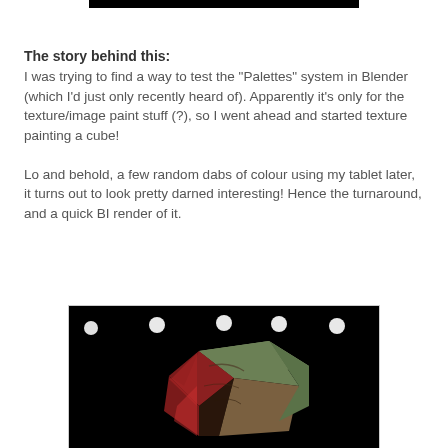[Figure (illustration): Black horizontal bar at the top of the page]
The story behind this:
I was trying to find a way to test the "Palettes" system in Blender (which I'd just only recently heard of). Apparently it's only for the texture/image paint stuff (?), so I went ahead and started texture painting a cube!

Lo and behold, a few random dabs of colour using my tablet later, it turns out to look pretty darned interesting! Hence the turnaround, and a quick BI render of it.
[Figure (photo): A 3D rendered cube with texture painting showing red, green, and brown colours on a black background, with small white circle highlights at the top representing lights.]